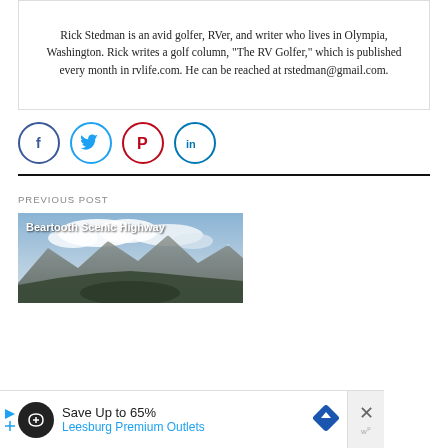Rick Stedman is an avid golfer, RVer, and writer who lives in Olympia, Washington. Rick writes a golf column, “The RV Golfer,” which is published every month in rvlife.com. He can be reached at rstedman@gmail.com.
[Figure (infographic): Social media share icons: Facebook (blue circle with f), Twitter (light blue circle with bird), Pinterest (red circle with P), LinkedIn (blue circle with in)]
PREVIOUS POST
[Figure (photo): Mountain scenic highway photo with snow-capped peaks, valley, and cloudy sky. Title overlay reads: Beartooth Scenic Highway]
[Figure (infographic): Advertisement banner: Save Up to 65% Leesburg Premium Outlets with navigation icon and close button]